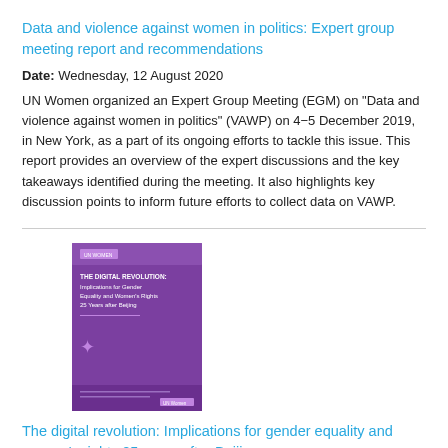Data and violence against women in politics: Expert group meeting report and recommendations
Date: Wednesday, 12 August 2020
UN Women organized an Expert Group Meeting (EGM) on "Data and violence against women in politics" (VAWP) on 4–5 December 2019, in New York, as a part of its ongoing efforts to tackle this issue. This report provides an overview of the expert discussions and the key takeaways identified during the meeting. It also highlights key discussion points to inform future efforts to collect data on VAWP.
[Figure (illustration): Purple book cover with text about digital revolution, gender equality and women's rights, 25 years after Beijing. UN Women logo at bottom.]
The digital revolution: Implications for gender equality and women's rights 25 years after Beijing
Date: Friday, 7 August 2020